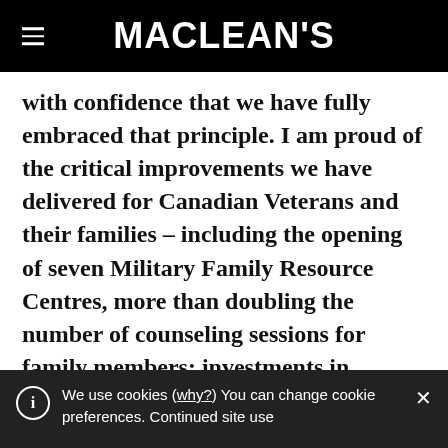MACLEAN'S
with confidence that we have fully embraced that principle. I am proud of the critical improvements we have delivered for Canadian Veterans and their families – including the opening of seven Military Family Resource Centres, more than doubling the number of counseling sessions for family members; investments in critical research and new treatment benefits to assist Veterans with post-traumatic stress
We use cookies (why?) You can change cookie preferences. Continued site use